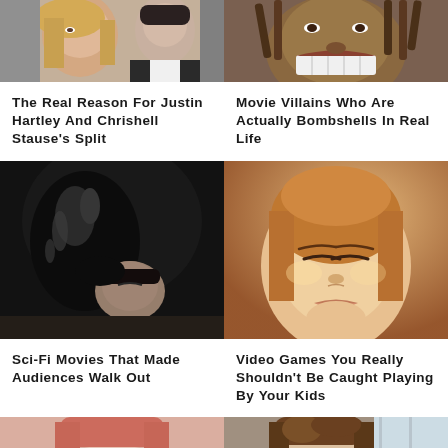[Figure (photo): Photo of Justin Hartley and Chrishell Stause, man in tuxedo with bow tie and woman with blond hair]
The Real Reason For Justin Hartley And Chrishell Stause's Split
[Figure (photo): Close-up of a movie villain with large teeth and dreadlocks]
Movie Villains Who Are Actually Bombshells In Real Life
[Figure (photo): Dark sci-fi movie still of a woman being threatened by a dark creature]
Sci-Fi Movies That Made Audiences Walk Out
[Figure (photo): 3D rendered animated female character with closed eyes, warm lighting]
Video Games You Really Shouldn't Be Caught Playing By Your Kids
[Figure (photo): Bottom partial photo of a young woman with red hair]
[Figure (photo): Bottom partial photo of a young man with brown hair near a window]